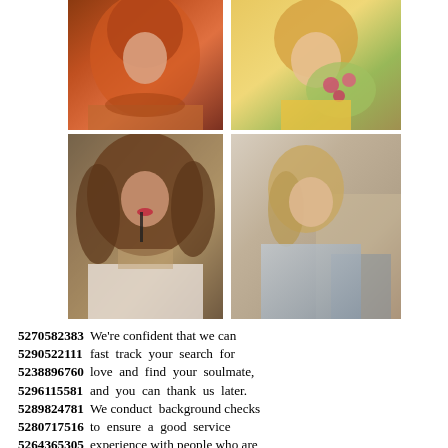[Figure (photo): Four portrait photos of women arranged in a 2x2 grid. Top-left: woman with bright red/orange hair. Top-right: woman with blonde hair holding flowers. Bottom-left: woman with long curly brown hair posing dramatically. Bottom-right: young woman with curly blonde hair looking over shoulder.]
5270582383  We're confident that we can
5290522111  fast track your search for
5238896760  love and find your soulmate,
5296115581  and you can thank us later.
5289824781  We conduct background checks
5280717516  to ensure a good service
5264365305  experience with people who are
5223223274  single and have never married.
5247371065  It is the...